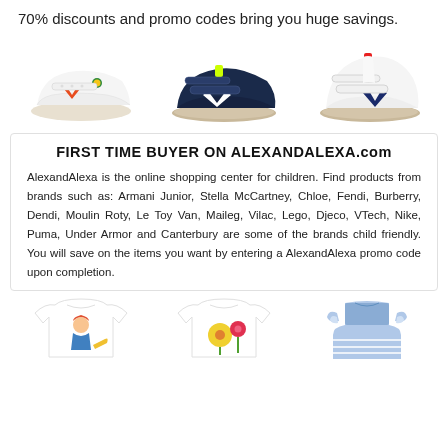70% discounts and promo codes bring you huge savings.
[Figure (photo): Three children's sneakers/shoes with Veja-style branding: left is a white low-top with orange and green accents, middle is a dark navy velcro sneaker with white V logo, right is a white high-top with navy and red accents.]
FIRST TIME BUYER ON ALEXANDALEXA.com
AlexandAlexa is the online shopping center for children. Find products from brands such as: Armani Junior, Stella McCartney, Chloe, Fendi, Burberry, Dendi, Moulin Roty, Le Toy Van, Maileg, Vilac, Lego, Djeco, VTech, Nike, Puma, Under Armor and Canterbury are some of the brands child friendly. You will save on the items you want by entering a AlexandAlexa promo code upon completion.
[Figure (photo): Three children's clothing items: left is a white t-shirt with a girl illustration, middle is a white t-shirt with flower print, right is a blue and white striped sleeveless dress with ruffles.]